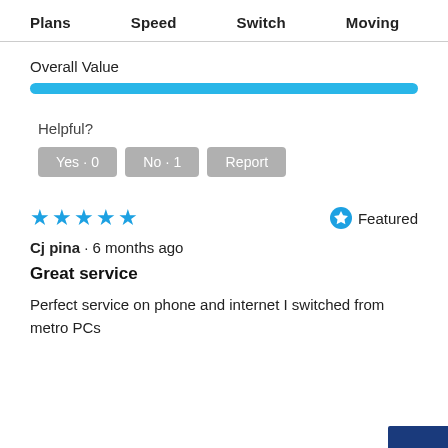Plans  Speed  Switch  Moving
Overall Value
[Figure (other): A full-width horizontal blue progress bar indicating Overall Value rating, fully filled]
Helpful?
Yes · 0   No · 1   Report
[Figure (other): Five blue star rating icons]
Featured
Cj pina · 6 months ago
Great service
Perfect service on phone and internet I switched from metro PCs